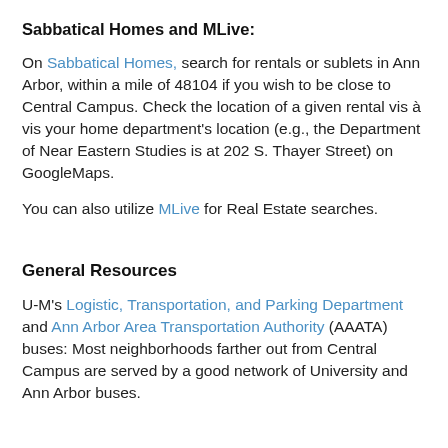Sabbatical Homes and MLive:
On Sabbatical Homes, search for rentals or sublets in Ann Arbor, within a mile of 48104 if you wish to be close to Central Campus. Check the location of a given rental vis à vis your home department's location (e.g., the Department of Near Eastern Studies is at 202 S. Thayer Street) on GoogleMaps.
You can also utilize MLive for Real Estate searches.
General Resources
U-M's Logistic, Transportation, and Parking Department and Ann Arbor Area Transportation Authority (AAATA) buses: Most neighborhoods farther out from Central Campus are served by a good network of University and Ann Arbor buses.